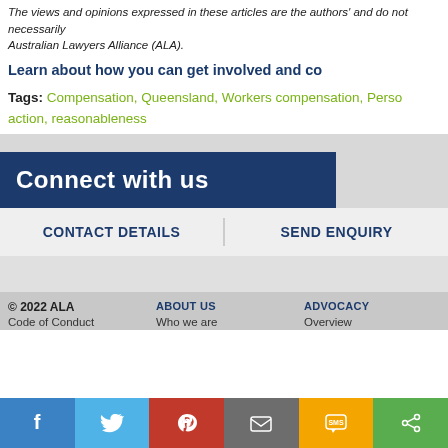The views and opinions expressed in these articles are the authors' and do not necessarily Australian Lawyers Alliance (ALA).
Learn about how you can get involved and co
Tags: Compensation, Queensland, Workers compensation, Perso action, reasonableness
Connect with us
CONTACT DETAILS
SEND ENQUIRY
© 2022 ALA | Code of Conduct | ABOUT US | Who we are | ADVOCACY | Overview
[Figure (infographic): Social sharing bar with Facebook, Twitter, Pinterest, Email, SMS, and Share icons]